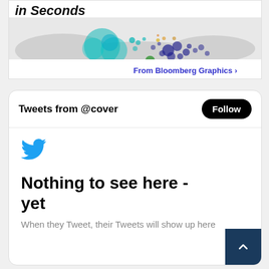[Figure (map): Bloomberg Graphics map banner showing 'in Seconds' title with bubble/dot map of geographic data points in teal, dark blue, and green colors]
From Bloomberg Graphics >
Tweets from @cover
Follow
[Figure (logo): Twitter bird logo in blue]
Nothing to see here - yet
When they Tweet, their Tweets will show up here